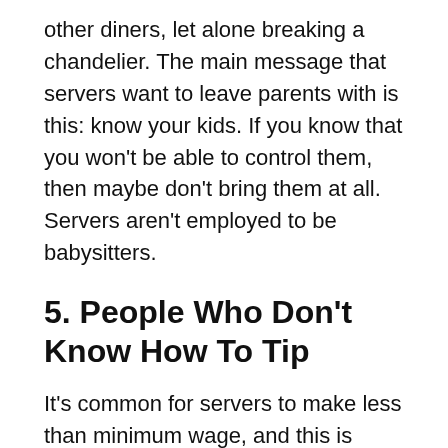other diners, let alone breaking a chandelier. The main message that servers want to leave parents with is this: know your kids. If you know that you won't be able to control them, then maybe don't bring them at all. Servers aren't employed to be babysitters.
5. People Who Don't Know How To Tip
It's common for servers to make less than minimum wage, and this is because it's expected that they'll receive tips. People can complain about the system all they want, but it is what it is — and until things change, your waiter or waitress is relying heavily on the tips that customers give them. Unfortunately, people don't always leave